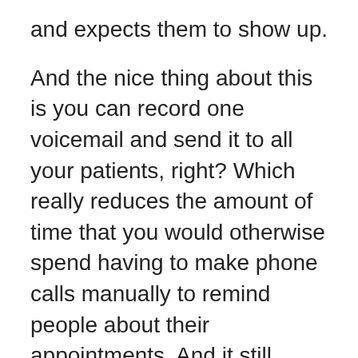and expects them to show up.
And the nice thing about this is you can record one voicemail and send it to all your patients, right? Which really reduces the amount of time that you would otherwise spend having to make phone calls manually to remind people about their appointments. And it still delivers that personal experience that actually comes from the practice and that's totally available. I can send SMS and email to no shows after they've not shown up,